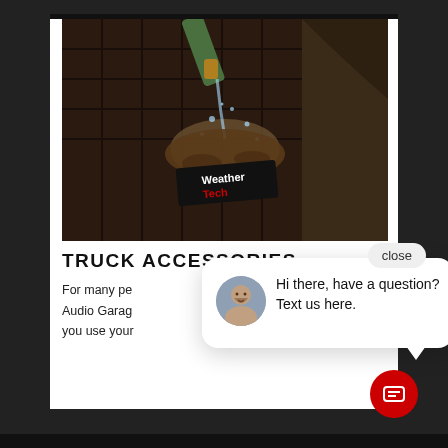[Figure (photo): WeatherTech floor mat being sprayed with water from a hose, showing the mud and water splashing off the mat with the WeatherTech logo visible]
TRUCK ACCESSORIES
For many pe... Audio Garag... you use your...
[Figure (screenshot): Chat popup widget with avatar photo of a person and text: Hi there, have a question? Text us here. With a close button and a red chat button icon at the bottom right.]